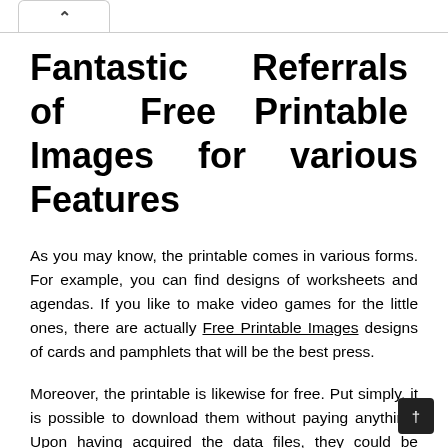Fantastic Referrals of Free Printable Images for various Features
As you may know, the printable comes in various forms. For example, you can find designs of worksheets and agendas. If you like to make video games for the little ones, there are actually Free Printable Images designs of cards and pamphlets that will be the best press.
Moreover, the printable is likewise for free. Put simply, it is possible to download them without paying anything. Upon having acquired the data files, they could be published. In addition, the sites could keep upgrading the documents, so you will invariably find new style to print when you need a lot